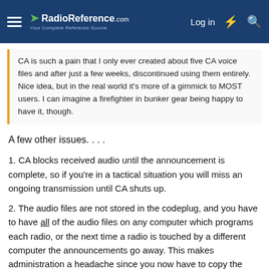RadioReference.com — Log in
CA is such a pain that I only ever created about five CA voice files and after just a few weeks, discontinued using them entirely. Nice idea, but in the real world it's more of a gimmick to MOST users. I can imagine a firefighter in bunker gear being happy to have it, though.
A few other issues. . . .
1. CA blocks received audio until the announcement is complete, so if you're in a tactical situation you will miss an ongoing transmission until CA shuts up.
2. The audio files are not stored in the codeplug, and you have to have all of the audio files on any computer which programs each radio, or the next time a radio is touched by a different computer the announcements go away. This makes administration a headache since you now have to copy the files to every computer along with the codeplug. Plus, they dramatically increase the time it takes to program a radio.
3. Agencies which jammed the radio full of channel